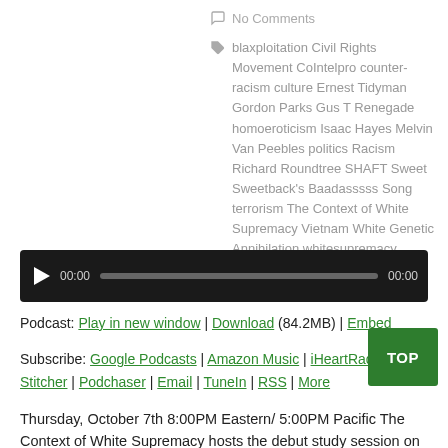No Comments
blaxploitation Civil Rights Movement CoIntelpro counter-racism culture Ernest Tidyman Gordon Parks Gus T Renegade homoeroticism Isaac Hayes Melvin Van Peebles politics Racism Richard Roundtree SHAFT Sweet Sweetback's Baadasssss Song terrorism The Context of White Supremacy Vietnam White Genetic Annihilation whitesupremacy
[Figure (other): Audio player with play button, time display 00:00, progress bar, and end time 00:00]
Podcast: Play in new window | Download (84.2MB) | Embed
Subscribe: Google Podcasts | Amazon Music | iHeartRadio | Stitcher | Podchaser | Email | TuneIn | RSS | More
Thursday, October 7th 8:00PM Eastern/ 5:00PM Pacific The Context of White Supremacy hosts the debut study session on